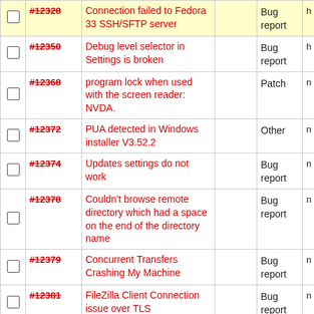|  | ID | Description |  | Type |  |
| --- | --- | --- | --- | --- | --- |
| ☐ | #12328 | Connection failed to Fedora 33 SSH/SFTP server |  | Bug report | h |
| ☐ | #12350 | Debug level selector in Settings is broken |  | Bug report | h |
| ☐ | #12368 | program lock when used with the screen reader: NVDA. |  | Patch | n |
| ☐ | #12372 | PUA detected in Windows installer V3.52.2 |  | Other | n |
| ☐ | #12374 | Updates settings do not work |  | Bug report | n |
| ☐ | #12378 | Couldn't browse remote directory which had a space on the end of the directory name |  | Bug report | n |
| ☐ | #12379 | Concurrent Transfers Crashing My Machine |  | Bug report | n |
| ☐ | #12381 | FileZilla Client Connection issue over TLS |  | Bug report | n |